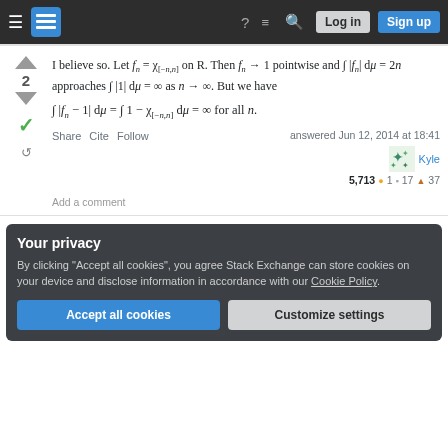Stack Exchange navigation bar with hamburger, logo, help, chat, search, Log in, Sign up
I believe so. Let f_n = χ_{[-n,n]} on R. Then f_n → 1 pointwise and ∫ |f_n| dμ = 2n approaches ∫ |1| dμ = ∞ as n → ∞. But we have
Share Cite Follow   answered Jun 12, 2014 at 18:41   Kyle  5,713  ●1  ▪17  ▲37
Add a comment
Your privacy
By clicking "Accept all cookies", you agree Stack Exchange can store cookies on your device and disclose information in accordance with our Cookie Policy.
Accept all cookies   Customize settings